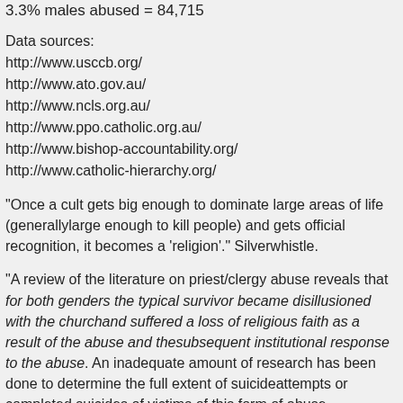3.3% males abused = 84,715
Data sources:
http://www.usccb.org/
http://www.ato.gov.au/
http://www.ncls.org.au/
http://www.ppo.catholic.org.au/
http://www.bishop-accountability.org/
http://www.catholic-hierarchy.org/
"Once a cult gets big enough to dominate large areas of life (generallylarge enough to kill people) and gets official recognition, it becomes a 'religion'." Silverwhistle.
"A review of the literature on priest/clergy abuse reveals that for both genders the typical survivor became disillusioned with the churchand suffered a loss of religious faith as a result of the abuse and thesubsequent institutional response to the abuse. An inadequate amount of research has been done to determine the full extent of suicideattempts or completed suicides of victims of this form of abuse.